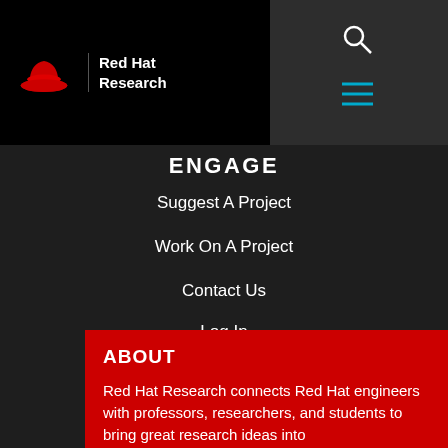Red Hat Research
ENGAGE
Suggest A Project
Work On A Project
Contact Us
Log In
ABOUT
Red Hat Research connects Red Hat engineers with professors, researchers, and students to bring great research ideas into